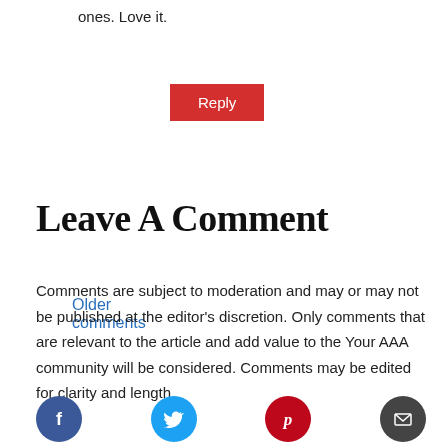ones. Love it.
Reply
Older comments
Leave A Comment
Comments are subject to moderation and may or may not be published at the editor's discretion. Only comments that are relevant to the article and add value to the Your AAA community will be considered. Comments may be edited for clarity and length.
[Figure (infographic): Four social media icon circles: Facebook (blue), Twitter (cyan), Pinterest (red), Email (dark grey)]